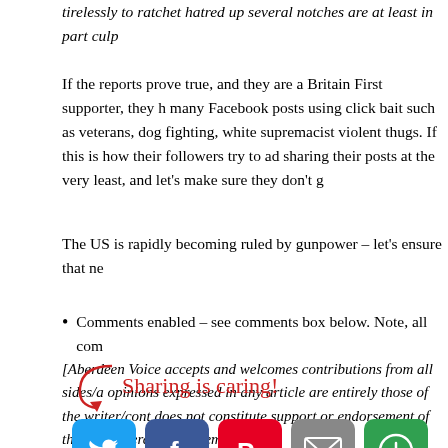tirelessly to ratchet hatred up several notches are at least in part culp
If the reports prove true, and they are a Britain First supporter, they h many Facebook posts using click bait such as veterans, dog fighting, white supremacist violent thugs. If this is how their followers try to ad sharing their posts at the very least, and let's make sure they don't g
The US is rapidly becoming ruled by gunpower – let's ensure that ne
Comments enabled – see comments box below. Note, all com
[Aberdeen Voice accepts and welcomes contributions from all sides/a opinions expressed in any article are entirely those of the writer/cont does not constitute support or endorsement of these by Aberdeen Vo members.]
[Figure (infographic): Sharing is caring! text with arrow and social media sharing buttons: Twitter (blue bird), Facebook (blue f), Pinterest (red p), Email (grey envelope), More (green circle arrow icon)]